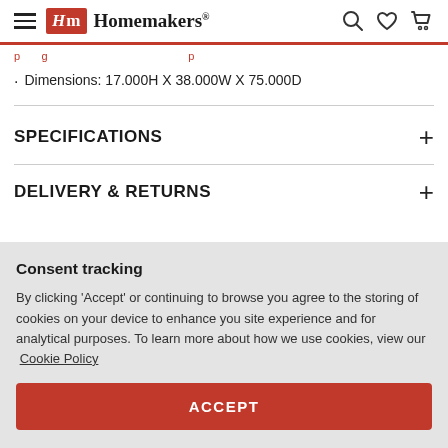Homemakers
Dimensions: 17.000H X 38.000W X 75.000D
SPECIFICATIONS
DELIVERY & RETURNS
Consent tracking
By clicking 'Accept' or continuing to browse you agree to the storing of cookies on your device to enhance you site experience and for analytical purposes. To learn more about how we use cookies, view our Cookie Policy
ACCEPT